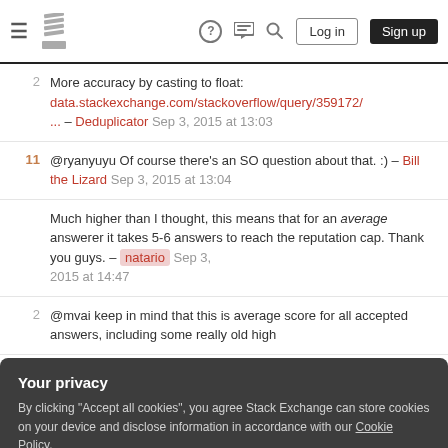Stack Overflow header with hamburger menu, logo, icons, Log in and Sign up buttons
2 More accuracy by casting to float: data.stackexchange.com/stackoverflow/query/359172/... – Deduplicator Sep 3, 2015 at 13:03
11 @ryanyuyu Of course there's an SO question about that. :) – Bill the Lizard Sep 3, 2015 at 13:04
Much higher than I thought, this means that for an average answerer it takes 5-6 answers to reach the reputation cap. Thank you guys. – natario Sep 3, 2015 at 14:47
2 @mvai keep in mind that this is average score for all accepted answers, including some really old high
Your privacy
By clicking "Accept all cookies", you agree Stack Exchange can store cookies on your device and disclose information in accordance with our Cookie Policy.
2 @Bergi yes, my guess for the median would be 1,